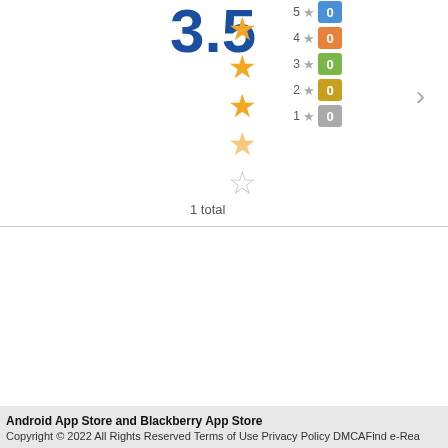[Figure (infographic): App rating display showing 3.5 out of 5 stars with star breakdown: 5 stars=0 (blue), 4 stars=0 (orange), 3 stars=0 (green), 2 stars=0 (yellow), 1 star=0 (gray). 1 total rating.]
1 total
Android App Store and Blackberry App Store
Copyright © 2022 All Rights Reserved Terms of Use Privacy Policy DMCAFind e-Rea